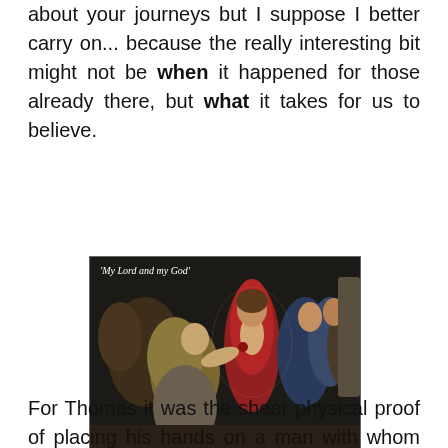about your journeys but I suppose I better carry on... because the really interesting bit might not be when it happened for those already there, but what it takes for us to believe.
[Figure (illustration): Painting titled 'My Lord and my God' — The Incredulity of St. Thomas by Benjamin West (1738-1820). Shows a group of figures around a central figure in red robes, with one figure bowing or touching the central figure.]
The Incredulity of St Thomas, Benjamin West (1738 -1820)
For Thomas it was the sheer physical proof of placing his hands on a man with whom he had spent the best part of